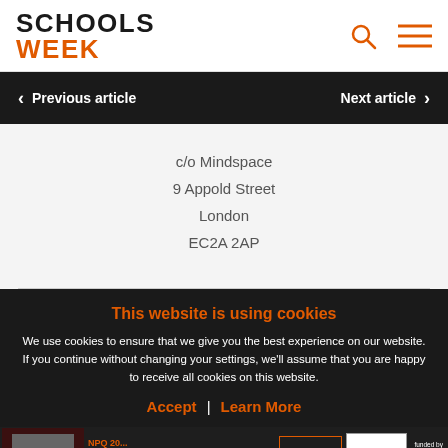Schools Week
Previous article | Next article
c/o Mindspace
9 Appold Street
London
EC2A 2AP
This website is using cookies
We use cookies to ensure that we give you the best experience on our website. If you continue without changing your settings, we'll assume that you are happy to receive all cookies on this website.
Accept | Learn More